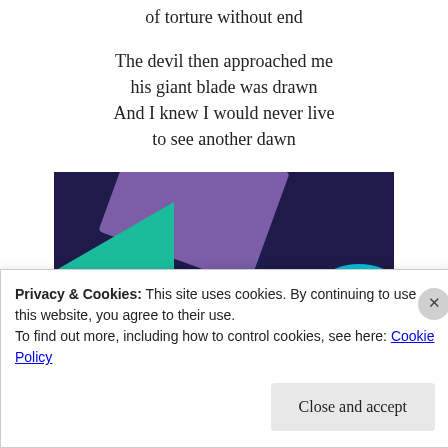of torture without end
The devil then approached me
his giant blade was drawn
And I knew I would never live
to see another dawn
[Figure (illustration): Advertisement banner with dark navy background, green triangle on left, purple shape top center, blue circle bottom right. Bold white text reads: Turn your hobby into a business in 8 steps]
Privacy & Cookies: This site uses cookies. By continuing to use this website, you agree to their use.
To find out more, including how to control cookies, see here: Cookie Policy
Close and accept